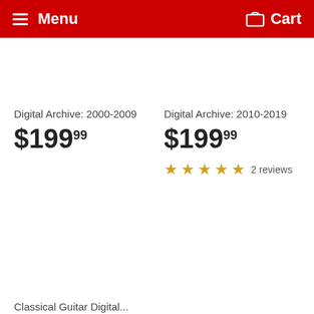Menu   Cart
Digital Archive: 2000-2009
$199.99
Digital Archive: 2010-2019
$199.99
★★★★★ 2 reviews
Classical Guitar Digital...